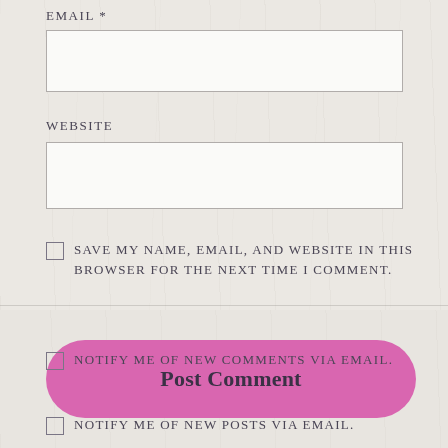EMAIL *
[Figure (other): Empty email input text field with light border]
WEBSITE
[Figure (other): Empty website input text field with light border]
SAVE MY NAME, EMAIL, AND WEBSITE IN THIS BROWSER FOR THE NEXT TIME I COMMENT.
[Figure (other): Pink rounded Post Comment button]
NOTIFY ME OF NEW COMMENTS VIA EMAIL.
NOTIFY ME OF NEW POSTS VIA EMAIL.